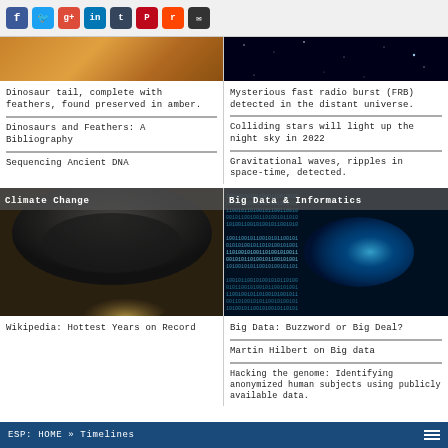Social share icons: Facebook, Twitter, Google+, LinkedIn, Tumblr, Pinterest, Reddit, Email
[Figure (photo): Partial view of dinosaur tail with feathers preserved in amber, warm orange-brown tones]
Dinosaur tail, complete with feathers, found preserved in amber.
Dinosaurs and Feathers: A Bibliography
Sequencing Ancient DNA
[Figure (photo): Partial view of space/stars with dark background, distant universe]
Mysterious fast radio burst (FRB) detected in the distant universe.
Colliding stars will light up the night sky in 2022
Gravitational waves, ripples in space-time, detected.
[Figure (photo): Climate Change category card with storm supercell photo and overlay label]
Wikipedia: Hottest Years on Record
[Figure (photo): Big Data & Informatics category card with binary/data stream tunnel image]
Big Data: Buzzword or Big Deal?
Martin Hilbert on Big data
Hacking the genome: Identifying anonymized human subjects using publicly available data.
ESP: HOME » Timelines